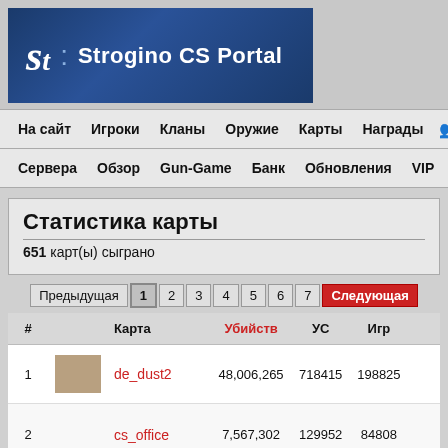[Figure (logo): Strogino CS Portal logo on dark blue banner]
На сайт  Игроки  Кланы  Оружие  Карты  Награды
Сервера  Обзор  Gun-Game  Банк  Обновления  VIP
Статистика карты
651 карт(ы) сыграно
Предыдущая 1 2 3 4 5 6 7 Следующая
| # | Карта | Убийств | УС | Игр |  |
| --- | --- | --- | --- | --- | --- |
| 1 | de_dust2 | 48,006,265 | 718415 | 198825 |  |
| 2 | cs_office | 7,567,302 | 129952 | 84808 |  |
| 3 | cs_italy | 7,362,363 | 120972 | 91615 |  |
| 4 | awp_india_v2 | 4,081,267 | 38748 | 35960 |  |